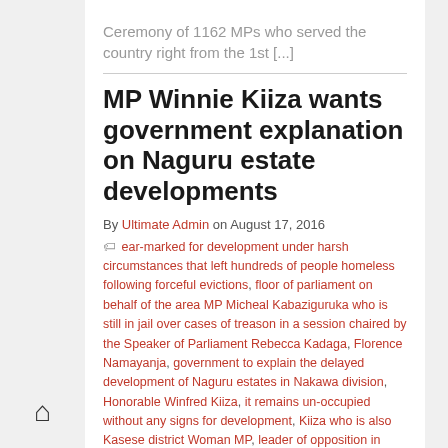Ceremony of 1162 MPs who served the country right from the 1st [...]
MP Winnie Kiiza wants government explanation on Naguru estate developments
By Ultimate Admin on August 17, 2016
ear-marked for development under harsh circumstances that left hundreds of people homeless following forceful evictions, floor of parliament on behalf of the area MP Micheal Kabaziguruka who is still in jail over cases of treason in a session chaired by the Speaker of Parliament Rebecca Kadaga, Florence Namayanja, government to explain the delayed development of Naguru estates in Nakawa division, Honorable Winfred Kiiza, it remains un-occupied without any signs for development, Kiiza who is also Kasese district Woman MP, leader of opposition in Parliament, Member of Parliament for Bukoto East, now six years after it was given to an investor
Latest Uganda News
MP Winnie Kiiza wants government